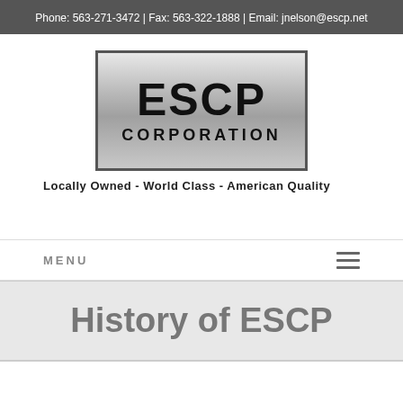Phone: 563-271-3472 | Fax: 563-322-1888 | Email: jnelson@escp.net
[Figure (logo): ESCP Corporation logo — silver gradient box with bold black text reading 'ESCP' on top and 'CORPORATION' below]
Locally Owned - World Class - American Quality
MENU
History of ESCP